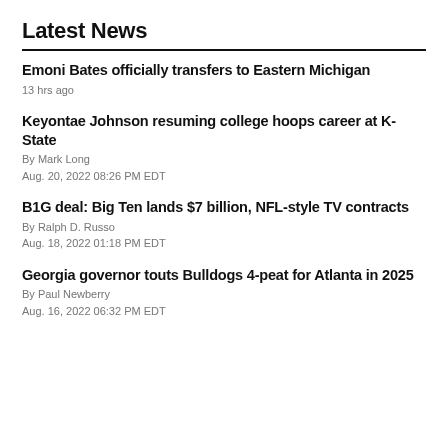Latest News
Emoni Bates officially transfers to Eastern Michigan
13 hrs ago
Keyontae Johnson resuming college hoops career at K-State
By Mark Long
Aug. 20, 2022 08:26 PM EDT
B1G deal: Big Ten lands $7 billion, NFL-style TV contracts
By Ralph D. Russo
Aug. 18, 2022 01:18 PM EDT
Georgia governor touts Bulldogs 4-peat for Atlanta in 2025
By Paul Newberry
Aug. 16, 2022 06:32 PM EDT